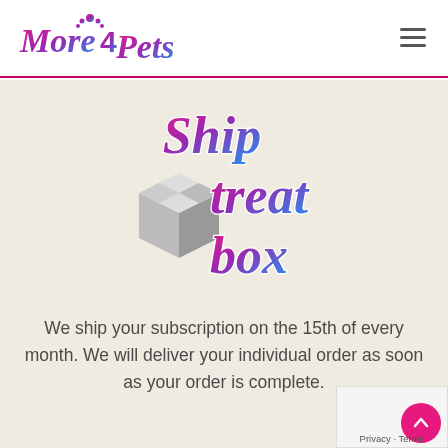[Figure (logo): More 4 Pets logo with paw print, pink to blue gradient script text]
[Figure (logo): Ship Treat Box logo with 3D box icon and gradient text reading 'Ship treat box']
We ship your subscription on the 15th of every month. We will deliver your individual order as soon as your order is complete.
Privacy · Terms